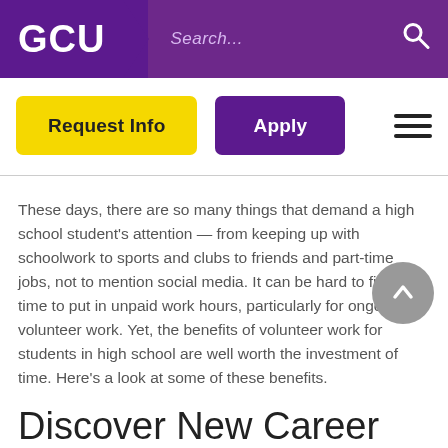GCU | Search...
Request Info | Apply
These days, there are so many things that demand a high school student's attention — from keeping up with schoolwork to sports and clubs to friends and part-time jobs, not to mention social media. It can be hard to find the time to put in unpaid work hours, particularly for ongoing volunteer work. Yet, the benefits of volunteer work for students in high school are well worth the investment of time. Here's a look at some of these benefits.
Discover New Career